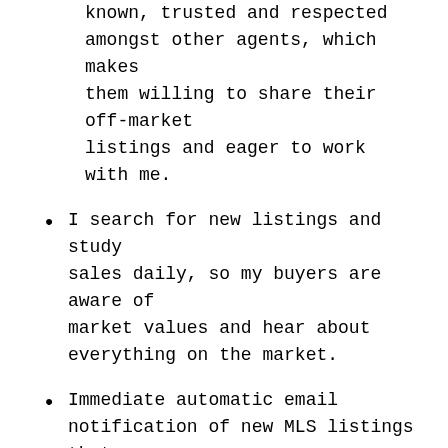known, trusted and respected amongst other agents, which makes them willing to share their off-market listings and eager to work with me.
I search for new listings and study sales daily, so my buyers are aware of market values and hear about everything on the market.
Immediate automatic email notification of new MLS listings that match my Buyer's parameters.
My clients rely on me to be honest, competent and thoroughly organized on follow-up/details, making the process easy for them.  I communicate